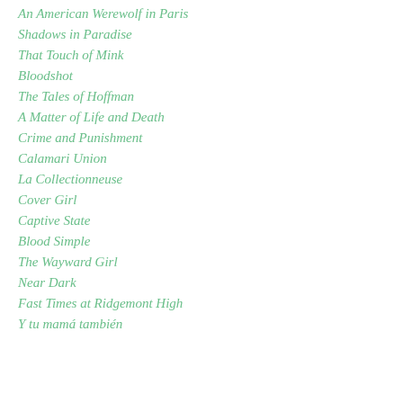An American Werewolf in Paris
Shadows in Paradise
That Touch of Mink
Bloodshot
The Tales of Hoffman
A Matter of Life and Death
Crime and Punishment
Calamari Union
La Collectionneuse
Cover Girl
Captive State
Blood Simple
The Wayward Girl
Near Dark
Fast Times at Ridgemont High
Y tu mamá también